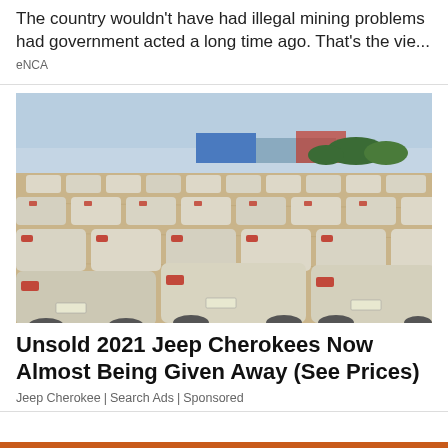The country wouldn't have had illegal mining problems had government acted a long time ago. That's the vie...
eNCA
[Figure (photo): Large outdoor lot filled with rows of dusty white cars (sedans and hatchbacks), viewed from behind, with industrial buildings and trees in the background under a blue sky.]
Unsold 2021 Jeep Cherokees Now Almost Being Given Away (See Prices)
Jeep Cherokee | Search Ads | Sponsored